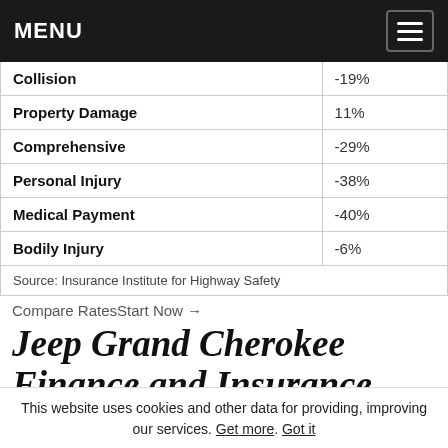MENU
| Coverage Type | Rate Change |
| --- | --- |
| Collision | -19% |
| Property Damage | 11% |
| Comprehensive | -29% |
| Personal Injury | -38% |
| Medical Payment | -40% |
| Bodily Injury | -6% |
| Source: Insurance Institute for Highway Safety |  |
Compare RatesStart Now →
Jeep Grand Cherokee Finance and Insurance Cost
If you are financing a Jeep Grand Cherokee, most lenders
This website uses cookies and other data for providing, improving our services. Get more. Got it